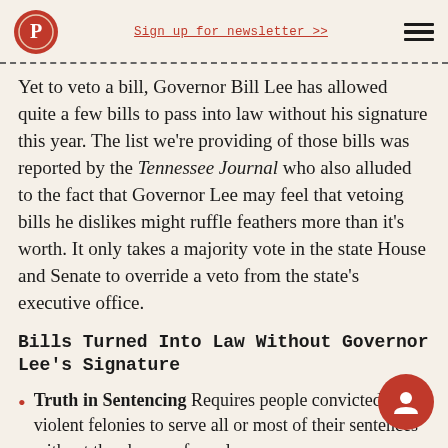Sign up for newsletter >>
Yet to veto a bill, Governor Bill Lee has allowed quite a few bills to pass into law without his signature this year. The list we're providing of those bills was reported by the Tennessee Journal who also alluded to the fact that Governor Lee may feel that vetoing bills he dislikes might ruffle feathers more than it's worth. It only takes a majority vote in the state House and Senate to override a veto from the state's executive office.
Bills Turned Into Law Without Governor Lee's Signature
Truth in Sentencing Requires people convicted of violent felonies to serve all or most of their sentences without the chance of parole.